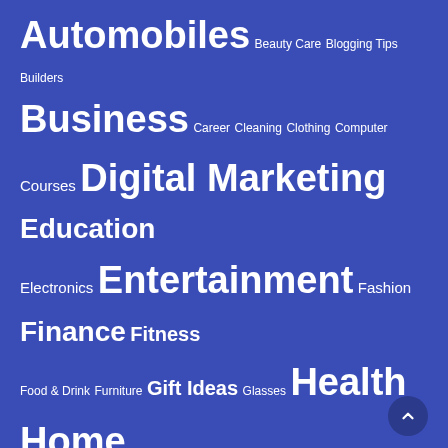[Figure (infographic): Tag cloud on blue background showing blog categories in varying font sizes: Automobiles, Beauty Care, Blogging Tips, Builders, Business, Career, Cleaning, Clothing, Computer, Courses, Digital Marketing, Education, Electronics, Entertainment, Fashion, Finance, Fitness, Food & Drink, Furniture, Gift Ideas, Glasses, Health, Home Improvement, Insurance, Marketing, Money, News, Online Shopping, Others, Personal Trainer, Pets, Printers, Real Estate, Recreation, Restaurants, Software, Sports, Technology, Tour & Travel, Toys & Games, Trades, Uncategorized, Web Development]
CALENDAR
| M | T | W | T | F | S | S |
| --- | --- | --- | --- | --- | --- | --- |
| 1 | 2 | 3 | 4 | 5 | 6 | 7 |